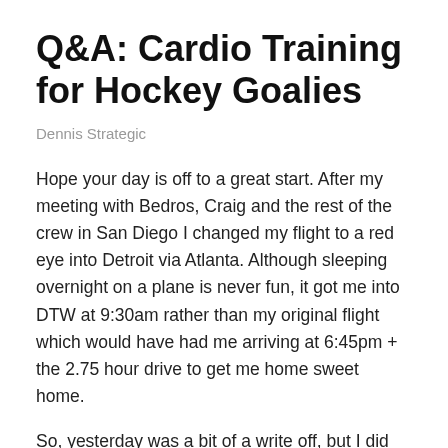Q&A: Cardio Training for Hockey Goalies
Dennis Strategic
Hope your day is off to a great start. After my meeting with Bedros, Craig and the rest of the crew in San Diego I changed my flight to a red eye into Detroit via Atlanta. Although sleeping overnight on a plane is never fun, it got me into DTW at 9:30am rather than my original flight which would have had me arriving at 6:45pm + the 2.75 hour drive to get me home sweet home.
So, yesterday was a bit of a write off, but I did get to visit my Mom on Mother's Day, so I know she enjoyed that.
The meetings and workshops were great – I learned a lot and left with my marching orders for the next 30 and 90-days. It helps so much to know that I will be held accountable to my